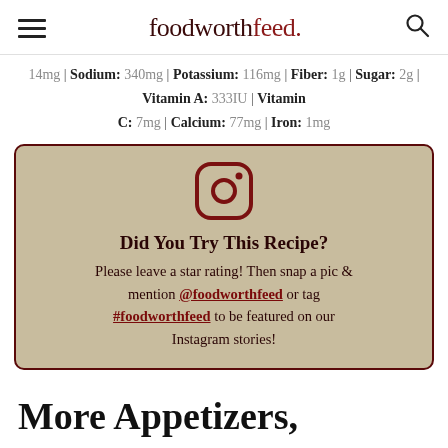foodworthfeed
14mg | Sodium: 340mg | Potassium: 116mg | Fiber: 1g | Sugar: 2g | Vitamin A: 333IU | Vitamin C: 7mg | Calcium: 77mg | Iron: 1mg
[Figure (illustration): Instagram logo icon in dark red on tan background]
Did You Try This Recipe? Please leave a star rating! Then snap a pic & mention @foodworthfeed or tag #foodworthfeed to be featured on our Instagram stories!
More Appetizers,